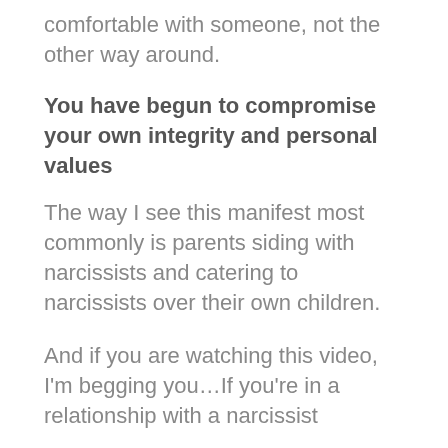comfortable with someone, not the other way around.
You have begun to compromise your own integrity and personal values
The way I see this manifest most commonly is parents siding with narcissists and catering to narcissists over their own children.
And if you are watching this video, I'm begging you…If you're in a relationship with a narcissist